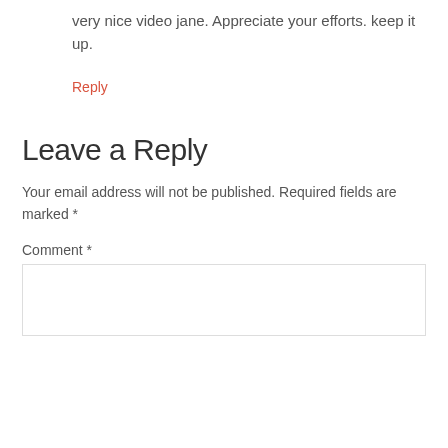very nice video jane. Appreciate your efforts. keep it up.
Reply
Leave a Reply
Your email address will not be published. Required fields are marked *
Comment *